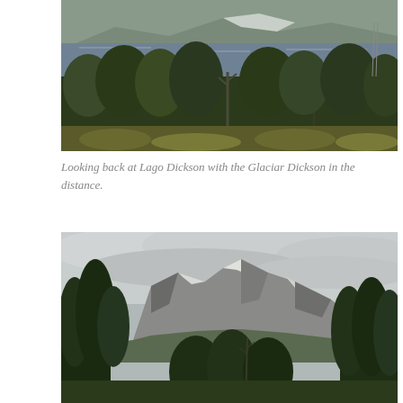[Figure (photo): Landscape photo looking back at Lago Dickson, a large grey-blue lake surrounded by dense green forest in the foreground with snowy glacier mountains in the distance, under overcast skies. Patagonia, Torres del Paine.]
Looking back at Lago Dickson with the Glaciar Dickson in the distance.
[Figure (photo): Landscape photo of rugged snow-dusted rocky mountains visible through a gap in dense green forest. Dramatic cloudy sky above. Patagonian landscape, Torres del Paine area.]